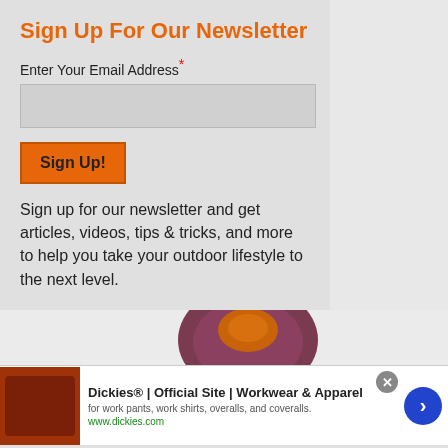Sign Up For Our Newsletter
Enter Your Email Address*
Sign Up!
Sign up for our newsletter and get articles, videos, tips & tricks, and more to help you take your outdoor lifestyle to the next level.
[Figure (photo): Partial view of a dark red/maroon sleeping bag with orange interior lining]
Dickies® | Official Site | Workwear & Apparel
for work pants, work shirts, overalls, and coveralls.
www.dickies.com